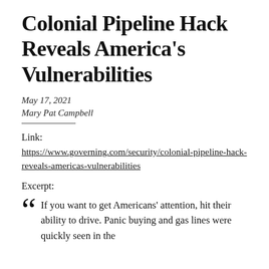Colonial Pipeline Hack Reveals America's Vulnerabilities
May 17, 2021
Mary Pat Campbell
Link:
https://www.governing.com/security/colonial-pipeline-hack-reveals-americas-vulnerabilities
Excerpt:
If you want to get Americans' attention, hit their ability to drive. Panic buying and gas lines were quickly seen in the